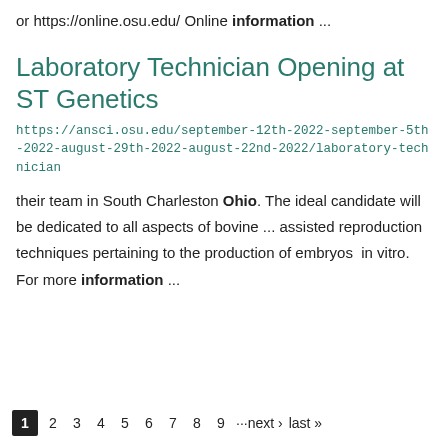or https://online.osu.edu/ Online information ...
Laboratory Technician Opening at ST Genetics
https://ansci.osu.edu/september-12th-2022-september-5th-2022-august-29th-2022-august-22nd-2022/laboratory-technician
their team in South Charleston Ohio. The ideal candidate will be dedicated to all aspects of bovine ... assisted reproduction techniques pertaining to the production of embryos in vitro. For more information ...
1 2 3 4 5 6 7 8 9 ···next › last »